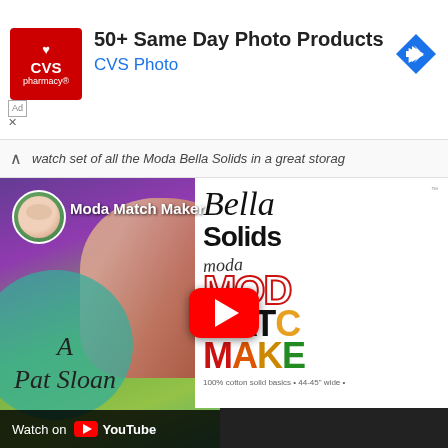[Figure (screenshot): CVS Pharmacy advertisement banner with logo, '50+ Same Day Photo Products' headline, 'CVS Photo' subtitle, and blue diamond navigation arrow]
watch set of all the Moda Bella Solids in a great storag
[Figure (screenshot): YouTube embedded video thumbnail showing 'Moda Match Maker' channel with a person holding a Bella Solids Moda Match Maker product box, with a red YouTube play button overlay and 'Watch on YouTube' bar at bottom. A teal circle overlay reads 'A Pat Sloan' and the box shows 'Bella Solids', 'moda', 'MATCH MAKER', '100% cotton solid basics • 44-45" wide'.]